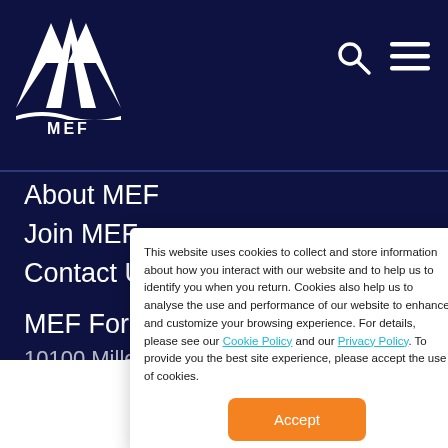MEF (logo and navigation header)
About MEF
Join MEF
Contact Us
MEF Forum
This website uses cookies to collect and store information about how you interact with our website and to help us to identify you when you return. Cookies also help us to analyse the use and performance of our website to enhance and customize your browsing experience. For details, please see our Cookie Policy and our Privacy Policy. To provide you the best site experience, please accept the use of cookies.
Accept